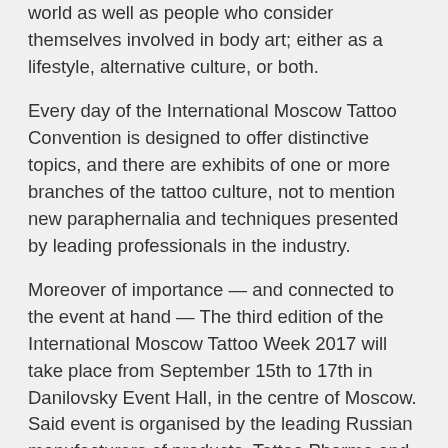world as well as people who consider themselves involved in body art; either as a lifestyle, alternative culture, or both.
Every day of the International Moscow Tattoo Convention is designed to offer distinctive topics, and there are exhibits of one or more branches of the tattoo culture, not to mention new paraphernalia and techniques presented by leading professionals in the industry.
Moreover of importance — and connected to the event at hand — The third edition of the International Moscow Tattoo Week 2017 will take place from September 15th to 17th in Danilovsky Event Hall, in the centre of Moscow. Said event is organised by the leading Russian manufacturers of products, Tattoo Pharma and the merchants Tattoo Market, presenting a wide range of products for the tattoo industry. The reception of more than two hundred Russian professionals and international tattoo artists are expected that will bring a unique creative atmosphere to the event yet, keeping a competitive approach. The event will include creative art fusions, numerous art gallery exhibitions, and the opportunity to purchase the work from artists present in